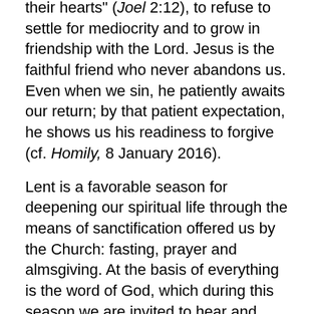their hearts" (Joel 2:12), to refuse to settle for mediocrity and to grow in friendship with the Lord. Jesus is the faithful friend who never abandons us. Even when we sin, he patiently awaits our return; by that patient expectation, he shows us his readiness to forgive (cf. Homily, 8 January 2016).
Lent is a favorable season for deepening our spiritual life through the means of sanctification offered us by the Church: fasting, prayer and almsgiving. At the basis of everything is the word of God, which during this season we are invited to hear and ponder more deeply. I would now like to consider the parable of the rich man and Lazarus (cf. Lk 16:19-31). Let us find inspiration in this meaningful story, for it provides a key to understanding what we need to do in order to attain true happiness and eternal life. It exhorts us to sincere conversion.